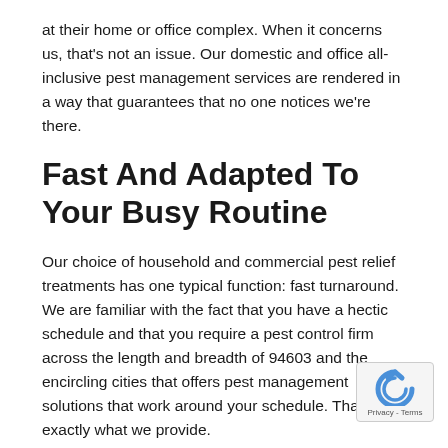at their home or office complex. When it concerns us, that's not an issue. Our domestic and office all-inclusive pest management services are rendered in a way that guarantees that no one notices we're there.
Fast And Adapted To Your Busy Routine
Our choice of household and commercial pest relief treatments has one typical function: fast turnaround. We are familiar with the fact that you have a hectic schedule and that you require a pest control firm across the length and breadth of 94603 and the encircling cities that offers pest management solutions that work around your schedule. That's exactly what we provide.
Licensed And Covered By...